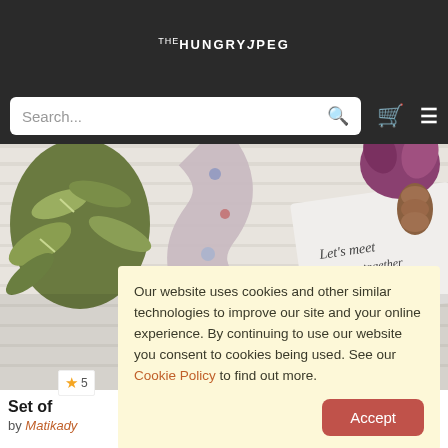THE HUNGRY JPEG
Search...
[Figure (photo): Hero image showing floral patterned fabric/ribbon and a greeting card reading 'Let's meet this winter together' on a white wood background with plants and pinecone]
Our website uses cookies and other similar technologies to improve our site and your online experience. By continuing to use our website you consent to cookies being used. See our Cookie Policy to find out more.
Accept
Set of...
by Matikady